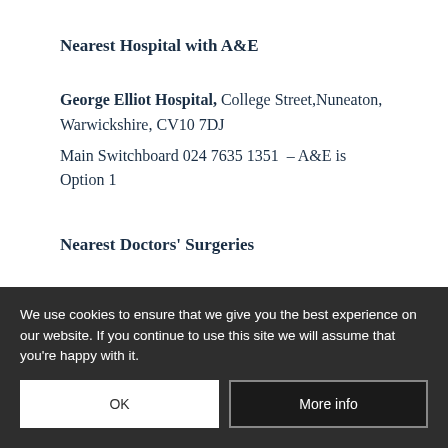Nearest Hospital with A&E
George Elliot Hospital, College Street, Nuneaton, Warwickshire, CV10 7DJ
Main Switchboard 024 7635 1351 – A&E is Option 1
Nearest Doctors' Surgeries
Pine Cose Surgery, 28 Pine Close, Stoke Golding, Nuneaton CV13 6EB (limited opening hours)
Tel 01455212526
Castle Mead Medical Centre, Hill Street, Hinckley, Leicestershire, LE10 1DS (Opening Times)
Tel 01455 63765
We use cookies to ensure that we give you the best experience on our website. If you continue to use this site we will assume that you're happy with it.